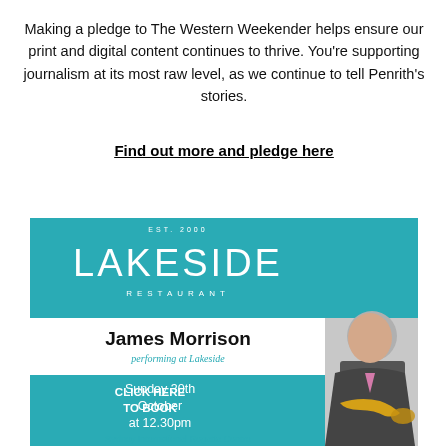Making a pledge to The Western Weekender helps ensure our print and digital content continues to thrive. You're supporting journalism at its most raw level, as we continue to tell Penrith's stories.
Find out more and pledge here
[Figure (illustration): Advertisement for Lakeside Restaurant featuring James Morrison performing at Lakeside on Sunday 30th October at 12.30pm. Teal background with white LAKESIDE RESTAURANT text, EST. 2000. Photo of bald man in dark suit with pink tie holding a trumpet. Text: James Morrison, performing at Lakeside, Sunday 30th October at 12.30pm, CLICK HERE TO BOOK, Sydney International Regatta Centre.]